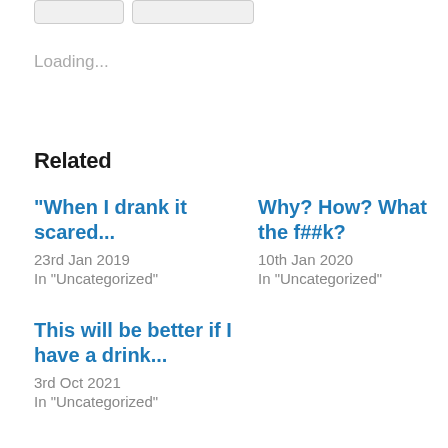Loading...
Related
"When I drank it scared...
23rd Jan 2019
In "Uncategorized"
Why? How? What the f##k?
10th Jan 2020
In "Uncategorized"
This will be better if I have a drink...
3rd Oct 2021
In "Uncategorized"